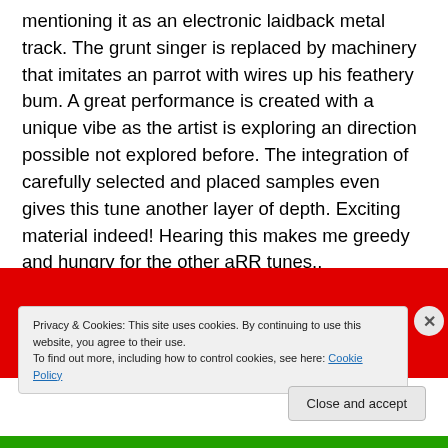mentioning it as an electronic laidback metal track. The grunt singer is replaced by machinery that imitates an parrot with wires up his feathery bum. A great performance is created with a unique vibe as the artist is exploring an direction possible not explored before. The integration of carefully selected and placed samples even gives this tune another layer of depth. Exciting material indeed! Hearing this makes me greedy and hungry for the other aRR tunes..
[Figure (photo): Red banner image with a dark rounded shape visible at the top center, partially cut off. A green bar appears at the bottom.]
Privacy & Cookies: This site uses cookies. By continuing to use this website, you agree to their use.
To find out more, including how to control cookies, see here: Cookie Policy